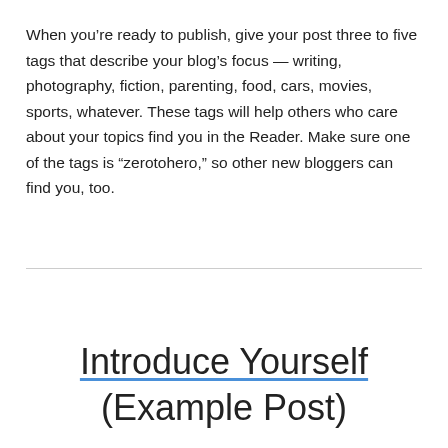When you're ready to publish, give your post three to five tags that describe your blog's focus — writing, photography, fiction, parenting, food, cars, movies, sports, whatever. These tags will help others who care about your topics find you in the Reader. Make sure one of the tags is “zerotohero,” so other new bloggers can find you, too.
Introduce Yourself (Example Post)